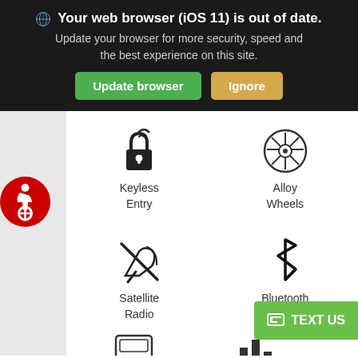Your web browser (iOS 11) is out of date. Update your browser for more security, speed and the best experience on this site. Update browser | Ignore
[Figure (infographic): Keyless Entry icon: padlock with wireless signal waves above it]
Keyless Entry
[Figure (infographic): Alloy Wheels icon: car wheel/rim in circular outline]
Alloy Wheels
[Figure (infographic): Accessibility symbol: person in wheelchair inside red circle]
[Figure (infographic): Satellite Radio icon: satellite dish with signal waves, crossed]
Satellite Radio
[Figure (infographic): Bluetooth icon: Bluetooth symbol]
Bluetooth
[Figure (infographic): TEXT US button with chat icon]
[Figure (infographic): Partial bottom row icons: car/vehicle icon and bar chart icon partially visible]